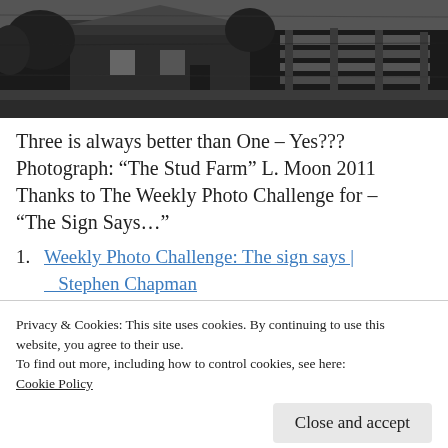[Figure (photo): Black and white photograph of a rural farm building or cabin with wooden structures, trees in background. Caption 'The Stud Farm' L. Moon 2011.]
Three is always better than One – Yes???
Photograph: “The Stud Farm” L. Moon 2011
Thanks to The Weekly Photo Challenge for –
“The Sign Says…”
Weekly Photo Challenge: The sign says | Stephen Chapman
Weekly Photo Challenge: The Sign Says |
Privacy & Cookies: This site uses cookies. By continuing to use this website, you agree to their use.
To find out more, including how to control cookies, see here:
Cookie Policy
Weekly Photo Challenge: The Sign Says |